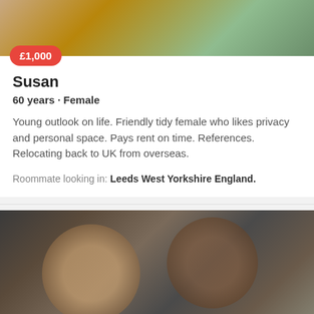[Figure (photo): Photo of Susan, older woman smiling outdoors with greenery in background]
£1,000
Susan
60 years · Female
Young outlook on life. Friendly tidy female who likes privacy and personal space. Pays rent on time. References. Relocating back to UK from overseas.
Roommate looking in: Leeds West Yorkshire England.
[Figure (photo): Photo of a young couple, woman wearing glasses and man with beard, smiling at camera]
£500